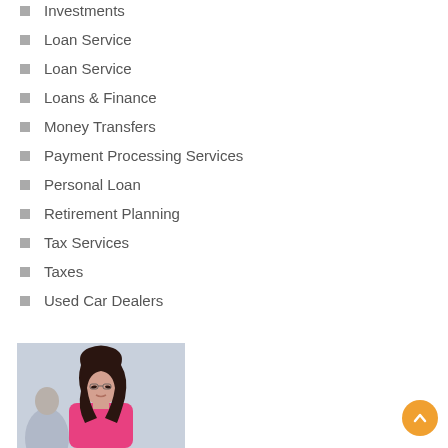Investments
Loan Service
Loan Service
Loans & Finance
Money Transfers
Payment Processing Services
Personal Loan
Retirement Planning
Tax Services
Taxes
Used Car Dealers
[Figure (photo): Woman with long dark hair wearing a pink top, looking down, with a blurred background]